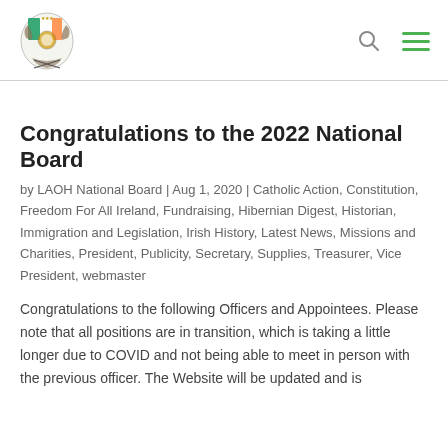LAOH National Board website header with logo, search icon, and menu icon
Congratulations to the 2022 National Board
by LAOH National Board | Aug 1, 2020 | Catholic Action, Constitution, Freedom For All Ireland, Fundraising, Hibernian Digest, Historian, Immigration and Legislation, Irish History, Latest News, Missions and Charities, President, Publicity, Secretary, Supplies, Treasurer, Vice President, webmaster
Congratulations to the following Officers and Appointees. Please note that all positions are in transition, which is taking a little longer due to COVID and not being able to meet in person with the previous officer. The Website will be updated and is